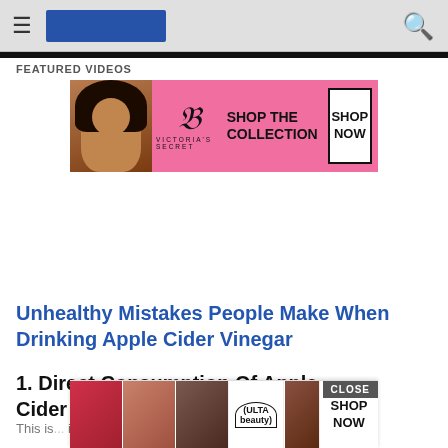Navigation bar with hamburger menu, logo, and search icon
FEATURED VIDEOS
[Figure (photo): Victoria's Secret advertisement banner with model, VS logo, 'SHOP THE COLLECTION' text and 'SHOP NOW' button on pink background]
Unhealthy Mistakes People Make When Drinking Apple Cider Vinegar
1. Direct Consumption Of Apple Cider Vinegar
This is ... ider vinegar
[Figure (photo): ULTA beauty advertisement banner with makeup photos and 'SHOP NOW' button, with CLOSE button overlay]